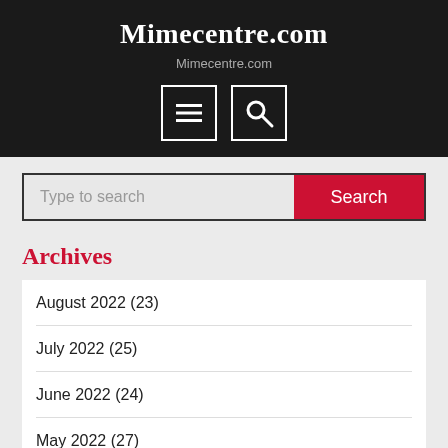Mimecentre.com
Mimecentre.com
[Figure (other): Two icon buttons: a hamburger menu icon and a search/magnifying glass icon, both outlined in white squares on dark background]
Type to search
Archives
August 2022 (23)
July 2022 (25)
June 2022 (24)
May 2022 (27)